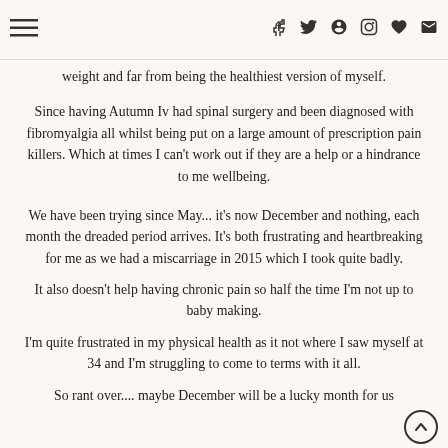☰ f t p ♥ ✉
weight and far from being the healthiest version of myself.
Since having Autumn Iv had spinal surgery and been diagnosed with fibromyalgia all whilst being put on a large amount of prescription pain killers. Which at times I can't work out if they are a help or a hindrance to me wellbeing.
We have been trying since May... it's now December and nothing, each month the dreaded period arrives. It's both frustrating and heartbreaking for me as we had a miscarriage in 2015 which I took quite badly.
It also doesn't help having chronic pain so half the time I'm not up to baby making.
I'm quite frustrated in my physical health as it not where I saw myself at 34 and I'm struggling to come to terms with it all.
So rant over.... maybe December will be a lucky month for us